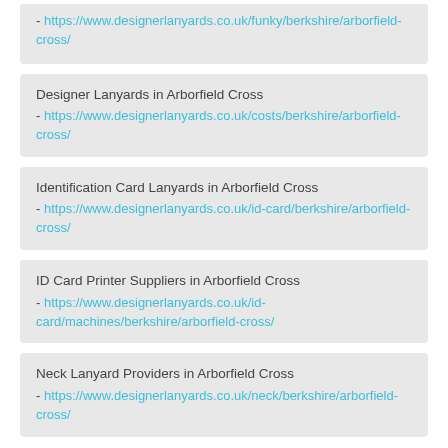- https://www.designerlanyards.co.uk/funky/berkshire/arborfield-cross/
Designer Lanyards in Arborfield Cross
- https://www.designerlanyards.co.uk/costs/berkshire/arborfield-cross/
Identification Card Lanyards in Arborfield Cross
- https://www.designerlanyards.co.uk/id-card/berkshire/arborfield-cross/
ID Card Printer Suppliers in Arborfield Cross
- https://www.designerlanyards.co.uk/id-card/machines/berkshire/arborfield-cross/
Neck Lanyard Providers in Arborfield Cross
- https://www.designerlanyards.co.uk/neck/berkshire/arborfield-cross/